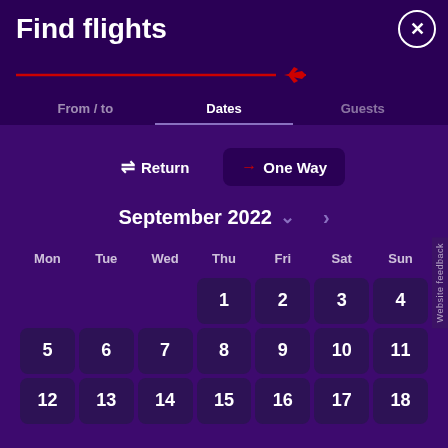Find flights
[Figure (screenshot): Flight booking UI with navigation tabs (From/to, Dates, Guests), return/one-way toggle buttons, September 2022 calendar grid showing dates 1-18]
From / to
Dates
Guests
⇌ Return
→ One Way
September 2022
| Mon | Tue | Wed | Thu | Fri | Sat | Sun |
| --- | --- | --- | --- | --- | --- | --- |
|  |  |  | 1 | 2 | 3 | 4 |
| 5 | 6 | 7 | 8 | 9 | 10 | 11 |
| 12 | 13 | 14 | 15 | 16 | 17 | 18 |